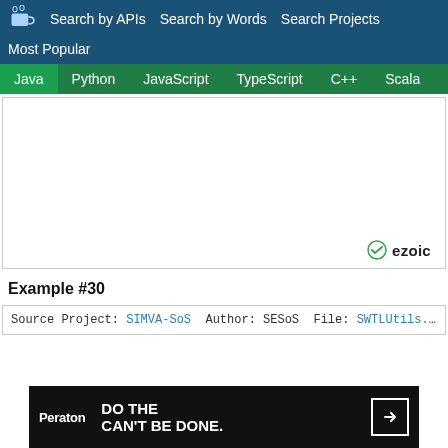Search by APIs  Search by Words  Search Projects  Most Popular
Java  Python  JavaScript  TypeScript  C++  Scala
[Figure (other): ezoic advertisement area - white box with ezoic badge at bottom right]
Example #30
Source Project: SIMVA-SoS  Author: SESoS  File: SWTLUtils.java  Li...
[Figure (other): Peraton advertisement banner: DO THE CAN'T BE DONE. with arrow button]